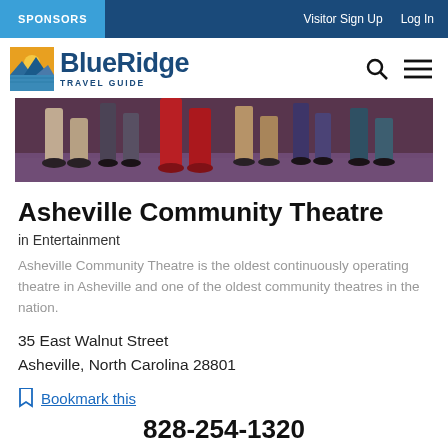SPONSORS | Visitor Sign Up | Log In
[Figure (logo): Blue Ridge Travel Guide logo with mountain/sunset icon]
[Figure (photo): Legs of performers on stage, colorful costumes including red pants, theatrical lighting]
Asheville Community Theatre
in Entertainment
Asheville Community Theatre is the oldest continuously operating theatre in Asheville and one of the oldest community theatres in the nation.
35 East Walnut Street
Asheville, North Carolina 28801
Bookmark this
828-254-1320